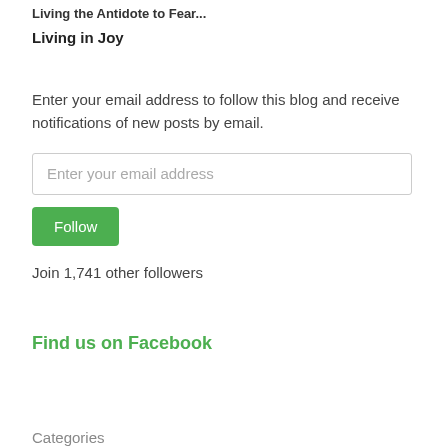Living the Antidote to Fear
Living in Joy
Enter your email address to follow this blog and receive notifications of new posts by email.
Enter your email address
Follow
Join 1,741 other followers
Find us on Facebook
Categories